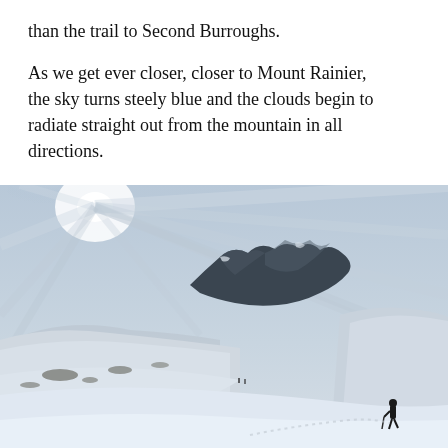than the trail to Second Burroughs.
As we get ever closer, closer to Mount Rainier, the sky turns steely blue and the clouds begin to radiate straight out from the mountain in all directions.
[Figure (photo): A snow-covered alpine landscape with a dark mountain peak (likely First Burroughs near Mount Rainier) under a dramatic sky with radiating cloud streaks and a bright sun glow in the upper left. A lone hiker stands in the lower right foreground on a snowy slope.]